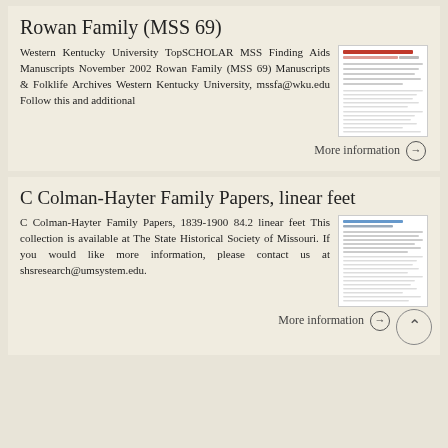Rowan Family (MSS 69)
Western Kentucky University TopSCHOLAR MSS Finding Aids Manuscripts November 2002 Rowan Family (MSS 69) Manuscripts & Folklife Archives Western Kentucky University, mssfa@wku.edu Follow this and additional
More information →
C Colman-Hayter Family Papers, linear feet
C Colman-Hayter Family Papers, 1839-1900 84.2 linear feet This collection is available at The State Historical Society of Missouri. If you would like more information, please contact us at shsresearch@umsystem.edu.
More information →